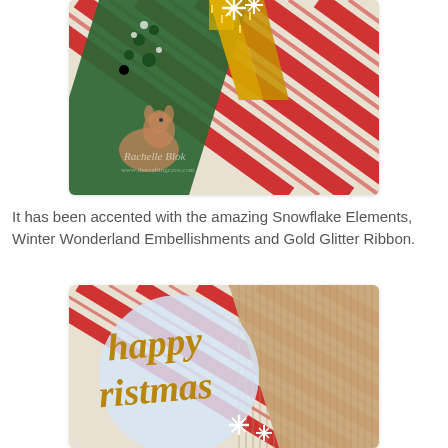[Figure (photo): Close-up of a Christmas card with red and white striped paper, green mistletoe patterned paper, illustrated deer/fawn characters, gold glitter ribbon bow, and white snowflake embellishments. Watermark reads 'Rachelle Blok'.]
It has been accented with the amazing Snowflake Elements, Winter Wonderland Embellishments and Gold Glitter Ribbon.
[Figure (photo): Close-up of a Christmas card showing a circular white/light blue ornament with 'happy Christmas' written in gold script, white snowflake embellishments, corrugated kraft paper, and red/white striped paper in the background.]